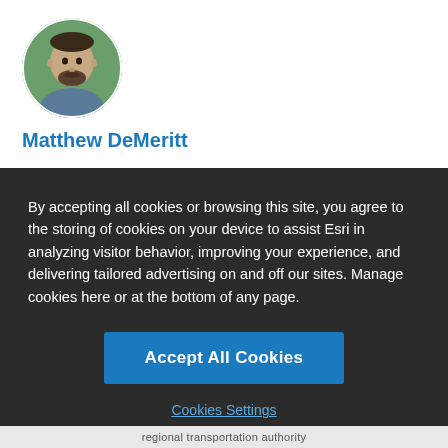[Figure (photo): Circular profile photo of Matthew DeMeritt, a middle-aged man with a beard, against a blurred green background]
Matthew DeMeritt
By accepting all cookies or browsing this site, you agree to the storing of cookies on your device to assist Esri in analyzing visitor behavior, improving your experience, and delivering tailored advertising on and off our sites. Manage cookies here or at the bottom of any page.
Accept All Cookies
Cookies Settings
regional transportation authority